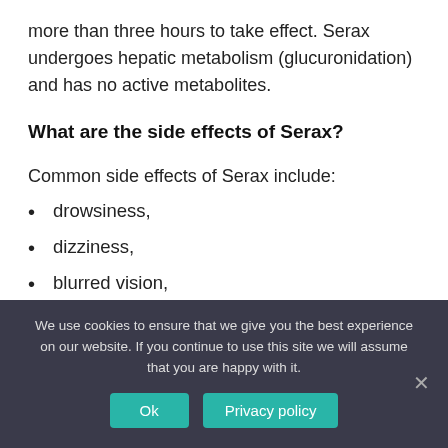more than three hours to take effect. Serax undergoes hepatic metabolism (glucuronidation) and has no active metabolites.
What are the side effects of Serax?
Common side effects of Serax include:
drowsiness,
dizziness,
blurred vision,
We use cookies to ensure that we give you the best experience on our website. If you continue to use this site we will assume that you are happy with it.